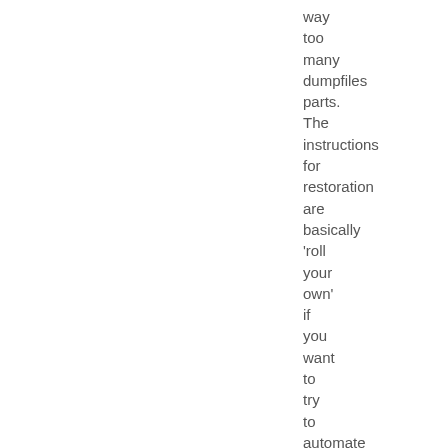way too many dumpfiles parts. The instructions for restoration are basically 'roll your own' if you want to try to automate [...]